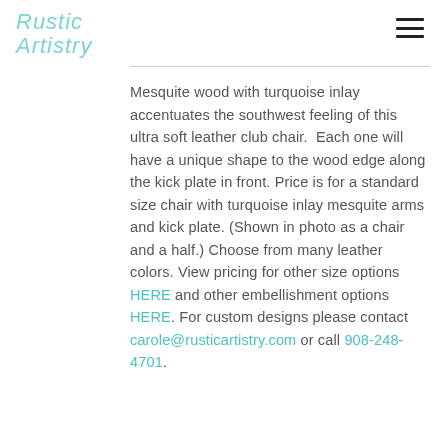Rustic Artistry
Mesquite wood with turquoise inlay accentuates the southwest feeling of this ultra soft leather club chair. Each one will have a unique shape to the wood edge along the kick plate in front. Price is for a standard size chair with turquoise inlay mesquite arms and kick plate. (Shown in photo as a chair and a half.) Choose from many leather colors. View pricing for other size options HERE and other embellishment options HERE. For custom designs please contact carole@rusticartistry.com or call 908-248-4701.